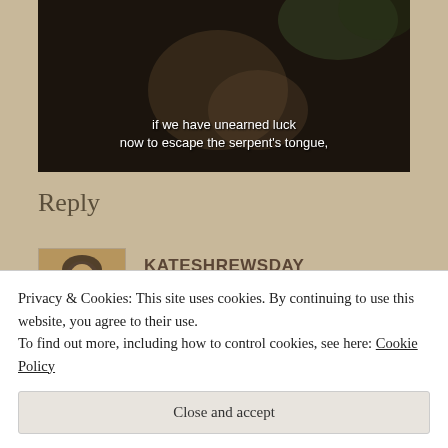[Figure (screenshot): YouTube video thumbnail showing a dark scene with subtitle text: 'if we have unearned luck now to escape the serpent's tongue,']
Reply
KATESHREWSDAY
OCTOBER 1, 2013 AT 6:30 PM
Privacy & Cookies: This site uses cookies. By continuing to use this website, you agree to their use.
To find out more, including how to control cookies, see here: Cookie Policy
Close and accept